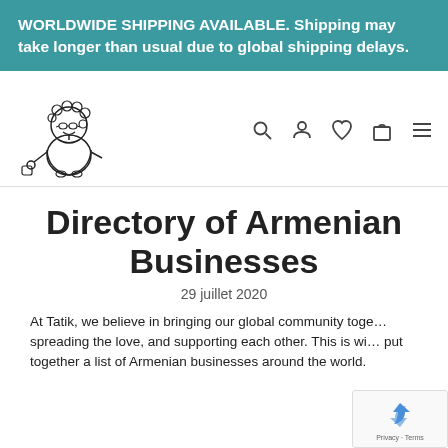WORLDWIDE SHIPPING AVAILABLE. Shipping may take longer than usual due to global shipping delays.
[Figure (logo): Tatik brand logo: cartoon grandmother figure with curlers, glasses, and apron]
Directory of Armenian Businesses
29 juillet 2020
At Tatik, we believe in bringing our global community together, spreading the love, and supporting each other. This is why we put together a list of Armenian businesses around the world.